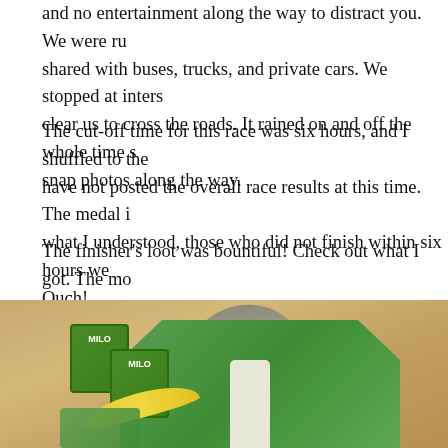and no entertainment along the way to distract you. We were ru shared with buses, trucks, and private cars. We stopped at inters clear us to cross the roads. It rained on and off the whole time s snap photos along the way.
The cut-off time for this race was six hours, and I shuffled to th have not posted the overall race results at this time. The medal i what I understood, those who did not finish within six hours we Ouch!
The finisher's loot was bountiful! Check out what I got. The mo sleeveless hoodie.
[Figure (photo): Photo of race finisher loot laid out on a tan/brown surface: a green and grey sleeveless hoodie, Milo drink boxes, and a banana.]